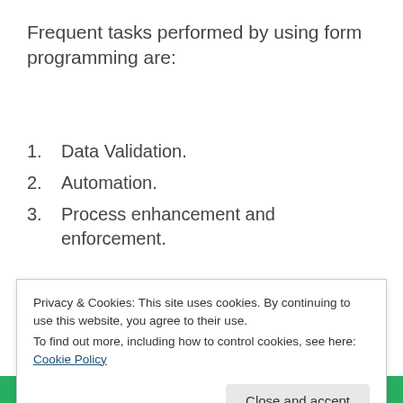Frequent tasks performed by using form programming are:
1. Data Validation.
2. Automation.
3. Process enhancement and enforcement.
USE FIELD AND FORM EVENTS
Privacy & Cookies: This site uses cookies. By continuing to use this website, you agree to their use.
To find out more, including how to control cookies, see here: Cookie Policy